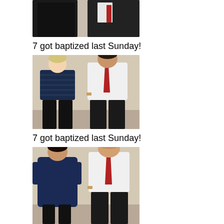[Figure (photo): Top photo (cropped, partially visible): two people standing together, dark clothing visible at bottom, cropped at top]
7 got baptized last Sunday!
[Figure (photo): Middle photo: two people standing together — a younger person in a navy blue striped polo shirt and black jeans, and a taller person in a white dress shirt with a red tie and black trousers]
7 got baptized last Sunday!
[Figure (photo): Bottom photo (partially cropped): two people standing together — a shorter person in a dark blue baptismal gown/robe, and a taller person in a white dress shirt with a red tie and black trousers]